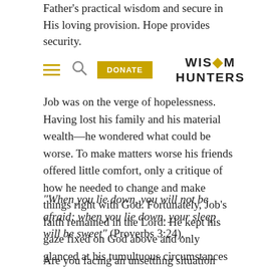Father's practical wisdom and secure in His loving provision. Hope provides security.
[Figure (logo): Wisdom Hunters logo with flame icon replacing the O in WISDOM]
Job was on the verge of hopelessness. Having lost his family and his material wealth—he wondered what could be worse. To make matters worse his friends offered little comfort, only a critique of how he needed to change and make things right with God. Fortunately, Job's faith remained in the Lord. He kept his gaze fixed on God above and only glanced at his tumultuous circumstances below. Security in our Savior keeps us from being scared.
“When you lie down, you will not be afraid; when you lie down, your sleep will be sweet” (Proverbs 3:24).
Are you facing an unsettling situation that